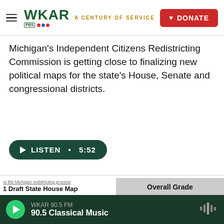WKAR · A CENTURY OF SERVICE · DONATE
Michigan's Independent Citizens Redistricting Commission is getting close to finalizing new political maps for the state's House, Senate and congressional districts.
LISTEN • 5:52
[Figure (screenshot): Partial view of a Michigan redistricting map with colored district regions (red and blue) and map controls including +/- zoom buttons and a BVAP dropdown. Overlay shows color scale from R to D.]
[Figure (infographic): Overall Grade panel showing Partisan Fairness grade A and Competitiveness grade C, with a Similarity column partially visible.]
WKAR 90.5 FM · 90.5 Classical Music